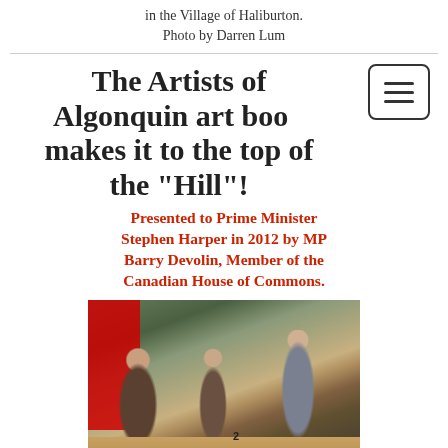in the Village of Haliburton.
Photo by Darren Lum
The Artists of Algonquin art book makes it to the top of the "Hill"!
Presented to Prime Minister Stephen Harper in 2012 by MP Barry Devolin, Member of the Canadian House of Commons.
[Figure (photo): Photo of MP Barry Devolin presenting the Artists of Algonquin art book to Prime Minister Stephen Harper in a parliamentary room, with a Canadian flag visible and other people in the background. They are seated/standing at a wooden table.]